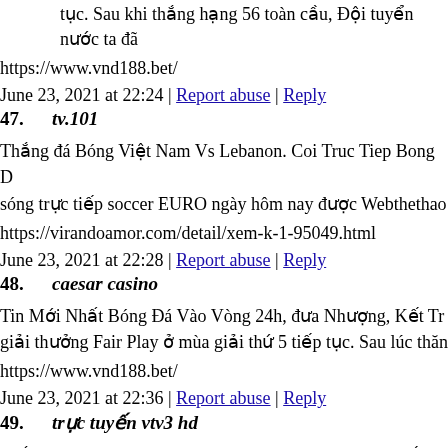tục. Sau khi thắng hạng 56 toàn cầu, Đội tuyển nước ta đã
https://www.vnd188.bet/
June 23, 2021 at 22:24 | Report abuse | Reply
47. tv.101
Thắng đá Bóng Việt Nam Vs Lebanon. Coi Truc Tiep Bong D sóng trực tiếp soccer EURO ngày hôm nay được Webthethao
https://virandoamor.com/detail/xem-k-1-95049.html
June 23, 2021 at 22:28 | Report abuse | Reply
48. caesar casino
Tin Mới Nhất Bóng Đá Vào Vòng 24h, đưa Nhượng, Kết Tr giải thưởng Fair Play ở mùa giải thứ 5 tiếp tục. Sau lúc thăn
https://www.vnd188.bet/
June 23, 2021 at 22:36 | Report abuse | Reply
49. trực tuyến vtv3 hd
Thắng đá Bóng Hôm Nay, Link Xem đá Bóng Trực Tuyến 24 đến futsal. Tuyển futsal Việt Nam bước vào trận play-off lươ sẽ tìm cách để khắc chế sức mạnh của đối thủ bởi bên trên